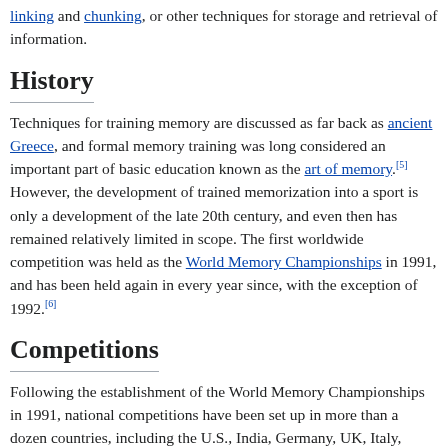linking and chunking, or other techniques for storage and retrieval of information.
History
Techniques for training memory are discussed as far back as ancient Greece, and formal memory training was long considered an important part of basic education known as the art of memory.[5] However, the development of trained memorization into a sport is only a development of the late 20th century, and even then has remained relatively limited in scope. The first worldwide competition was held as the World Memory Championships in 1991, and has been held again in every year since, with the exception of 1992.[6]
Competitions
Following the establishment of the World Memory Championships in 1991, national competitions have been set up in more than a dozen countries, including the U.S., India, Germany, UK, Italy, Sweden, Australia, Singapore, China, Japan, South Korea, Mongolia, and the Philippines, among others.[7][8][9][10][11] An up-to-date list of competitions can be found at the International